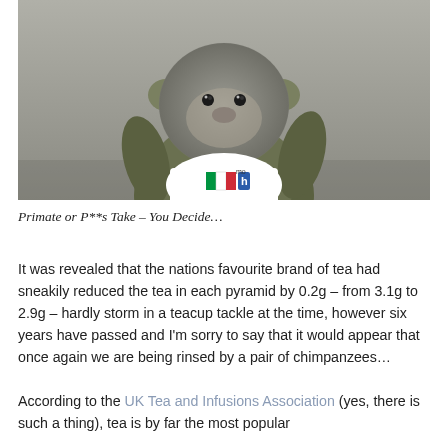[Figure (photo): A knitted/crocheted toy monkey wearing a small white t-shirt with a coloured logo, photographed against a neutral grey background. The monkey has a grey round head and olive/green body.]
Primate or P**s Take – You Decide…
It was revealed that the nations favourite brand of tea had sneakily reduced the tea in each pyramid by 0.2g – from 3.1g to 2.9g – hardly storm in a teacup tackle at the time, however six years have passed and I'm sorry to say that it would appear that once again we are being rinsed by a pair of chimpanzees…
According to the UK Tea and Infusions Association (yes, there is such a thing), tea is by far the most popular